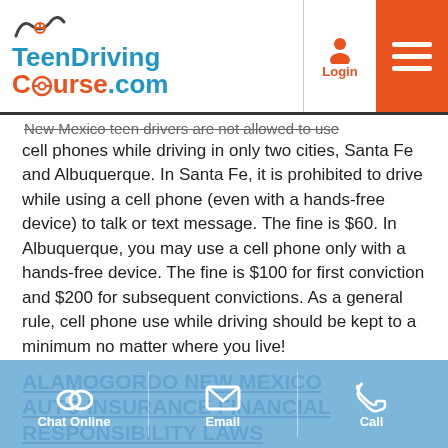TeenDrivingCourse.com
New Mexico teen drivers are not allowed to use cell phones while driving in only two cities, Santa Fe and Albuquerque. In Santa Fe, it is prohibited to drive while using a cell phone (even with a hands-free device) to talk or text message. The fine is $60. In Albuquerque, you may use a cell phone only with a hands-free device. The fine is $100 for first conviction and $200 for subsequent convictions. As a general rule, cell phone use while driving should be kept to a minimum no matter where you live!
ALAMOGORDO NEW MEXICO AUTO INSURANCE FINANCIAL RESPONSIBILITY LAWS